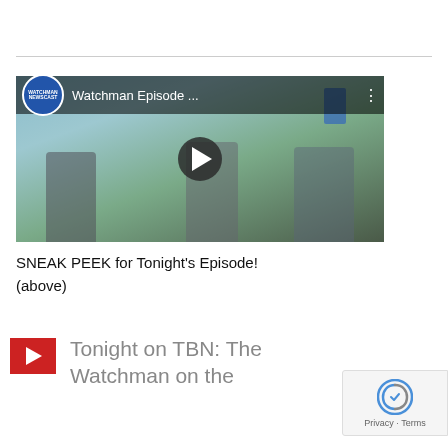[Figure (screenshot): YouTube video embed thumbnail showing two men outdoors, with a play button overlay. Title reads 'Watchman Episode ...' with channel icon 'WATCHMAN NEWSCAST' in top left corner.]
SNEAK PEEK for Tonight's Episode!
(above)
[Figure (screenshot): Red YouTube-style play button icon next to link text 'Tonight on TBN: The Watchman on the' (truncated)]
[Figure (other): Google reCAPTCHA privacy badge in bottom right corner showing reCAPTCHA logo and 'Privacy · Terms' text]